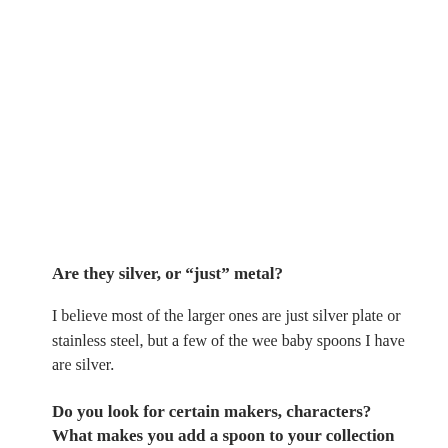Are they silver, or “just” metal?
I believe most of the larger ones are just silver plate or stainless steel, but a few of the wee baby spoons I have are silver.
Do you look for certain makers, characters? What makes you add a spoon to your collection —